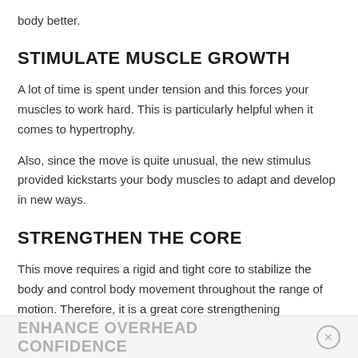body better.
STIMULATE MUSCLE GROWTH
A lot of time is spent under tension and this forces your muscles to work hard. This is particularly helpful when it comes to hypertrophy.
Also, since the move is quite unusual, the new stimulus provided kickstarts your body muscles to adapt and develop in new ways.
STRENGTHEN THE CORE
This move requires a rigid and tight core to stabilize the body and control body movement throughout the range of motion. Therefore, it is a great core strengthening movement.
ENHANCE OVERHEAD CONFIDENCE